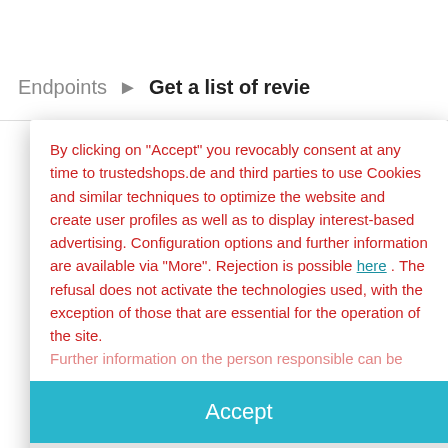Endpoints ▶ Get a list of revie
By clicking on "Accept" you revocably consent at any time to trustedshops.de and third parties to use Cookies and similar techniques to optimize the website and create user profiles as well as to display interest-based advertising. Configuration options and further information are available via "More". Rejection is possible here . The refusal does not activate the technologies used, with the exception of those that are essential for the operation of the site. Further information on the person responsible can be
Accept
more
Powered by  usercentrics  &  TRUSTED SHOPS